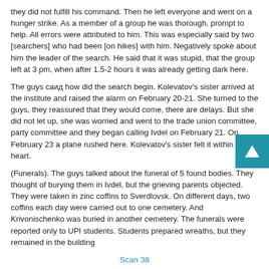they did not fulfill his command. Then he left everyone and went on a hunger strike. As a member of a group he was thorough, prompt to help. All errors were attributed to him. This was especially said by two [searchers] who had been [on hikes] with him. Negatively spoke about him the leader of the search. He said that it was stupid, that the group left at 3 pm, when after 1.5-2 hours it was already getting dark here.
The guys саид how did the search begin. Kolevatov's sister arrived at the institute and raised the alarm on February 20-21. She turned to the guys, they reassured that they would come, there are delays. But she did not let up, she was worried and went to the trade union committee, party committee and they began calling Ivdel on February 21. On February 23 a plane rushed here. Kolevatov's sister felt it within her heart.
(Funerals). The guys talked about the funeral of 5 found bodies. They thought of burying them in Ivdel, but the grieving parents objected. They were taken in zinc coffins to Sverdlovsk. On different days, two coffins each day were carried out to one cemetery. And Krivonischenko was buried in another cemetery. The funerals were reported only to UPI students. Students prepared wreaths, but they remained in the building
Scan 38
of the institute.
The watch was drawing to a close. It's close to 6 am, it is time to wake up the day attendants soon. They will cook at 7:30 am will wake everybody. At